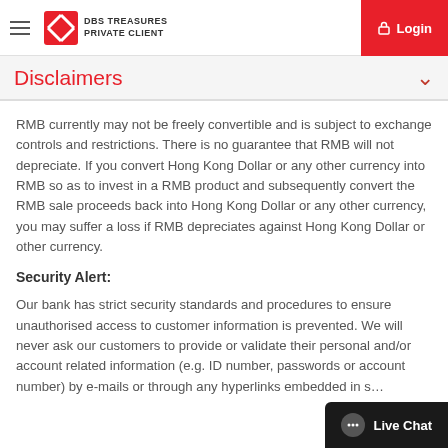DBS TREASURES PRIVATE CLIENT — Login
Disclaimers
RMB currently may not be freely convertible and is subject to exchange controls and restrictions. There is no guarantee that RMB will not depreciate. If you convert Hong Kong Dollar or any other currency into RMB so as to invest in a RMB product and subsequently convert the RMB sale proceeds back into Hong Kong Dollar or any other currency, you may suffer a loss if RMB depreciates against Hong Kong Dollar or other currency.
Security Alert:
Our bank has strict security standards and procedures to ensure unauthorised access to customer information is prevented. We will never ask our customers to provide or validate their personal and/or account related information (e.g. ID number, passwords or account number) by e-mails or through any hyperlinks embedded in s…